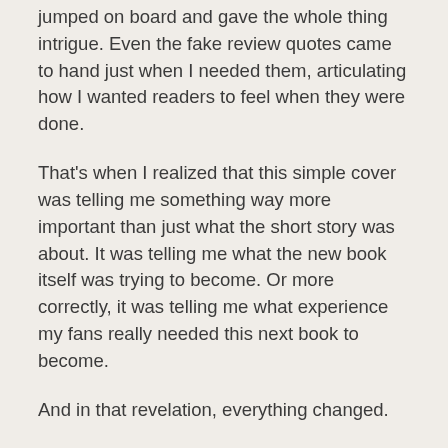jumped on board and gave the whole thing intrigue. Even the fake review quotes came to hand just when I needed them, articulating how I wanted readers to feel when they were done.
That's when I realized that this simple cover was telling me something way more important than just what the short story was about. It was telling me what the new book itself was trying to become. Or more correctly, it was telling me what experience my fans really needed this next book to become.
And in that revelation, everything changed.
That same afternoon, I sat down and redid the cover. Not for the short story, but this time, for the novel. Then I printed that cover out and posted it on the wall. The next day, I started from the beginning, taking bits and pieces of the Frankendraft, dropping in notes about new scenes